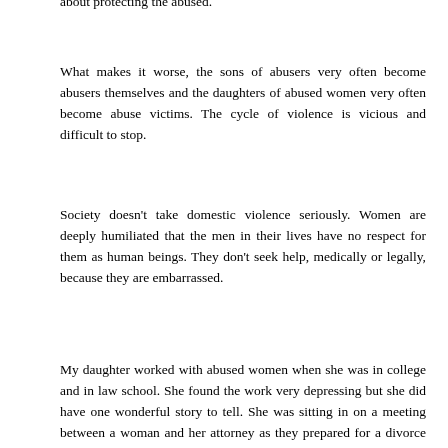about protecting the abused.
What makes it worse, the sons of abusers very often become abusers themselves and the daughters of abused women very often become abuse victims. The cycle of violence is vicious and difficult to stop.
Society doesn't take domestic violence seriously. Women are deeply humiliated that the men in their lives have no respect for them as human beings. They don't seek help, medically or legally, because they are embarrassed.
My daughter worked with abused women when she was in college and in law school. She found the work very depressing but she did have one wonderful story to tell. She was sitting in on a meeting between a woman and her attorney as they prepared for a divorce hearing. The woman had lived with her three children in her car, in a shelter, in a room in a welfare hotel, and, finally, in an apartment. She brought a letter from the principal of the school her children attended. The principal wrote that the children came to school clean, appropriately dressed for the weather, their homework done, and with a nutritious